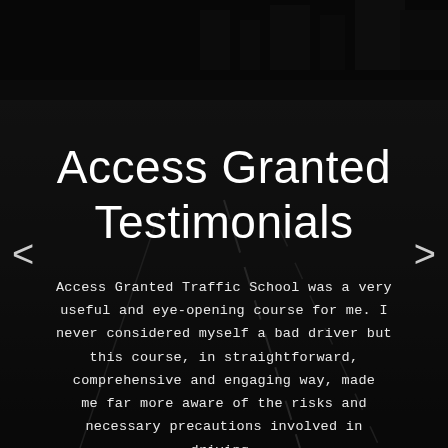[Figure (photo): Dark black and white background photo of a road at night with city lights visible in the upper portion, serving as the background for the testimonials page.]
Access Granted Testimonials
Access Granted Traffic School was a very useful and eye-opening course for me. I never considered myself a bad driver but this course, in straightforward, comprehensive and engaging way, made me far more aware of the risks and necessary precautions involved in driving. The course material and instructor made me want to be a safer, more cautious and aware driver.